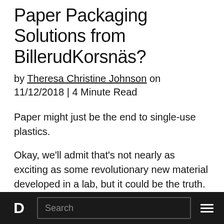Paper Packaging Solutions from BillerudKorsnäs?
by Theresa Christine Johnson on 11/12/2018 | 4 Minute Read
Paper might just be the end to single-use plastics.
Okay, we'll admit that's not nearly as exciting as some revolutionary new material developed in a lab, but it could be the truth. What if something we use daily, something which dates back to Ancient China, something made from wood pulp can challenge our reliance on plastics which will li...
D  Search  ≡